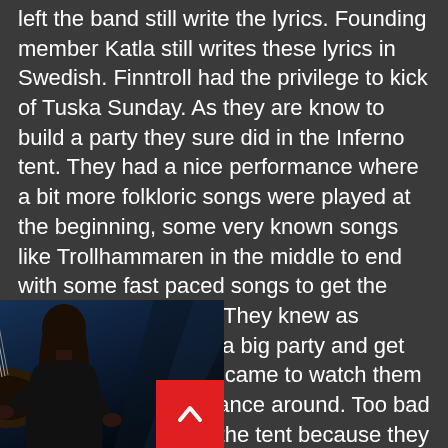left the band still write the lyrics. Founding member Katla still writes these lyrics in Swedish. Finntroll had the privilege to kick of Tuska Sunday. As they are know to build a party they sure did in the Inferno tent. They had a nice performance where a bit more folkloric songs were played at the beginning, some very known songs like Trollhammaren in the middle to end with some fast paced songs to get the crowd totally insane. They knew as always how to make a big party and get all those people who came to watch them to move, drink and dance around. Too bad they were playing in the tent because they could use a bigger stage for their performance but this was nice and intimate.
[Figure (photo): A musician with long dark hair playing a guitar, photographed against a dark blue background with a partial moon or light visible]